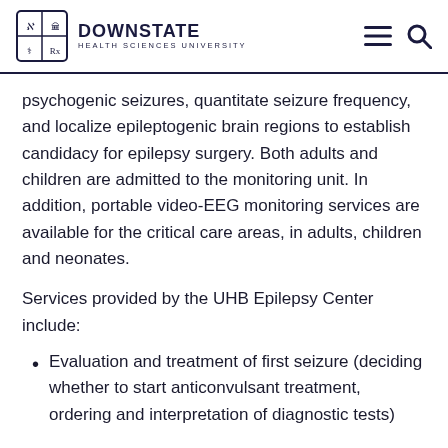DOWNSTATE HEALTH SCIENCES UNIVERSITY
psychogenic seizures, quantitate seizure frequency, and localize epileptogenic brain regions to establish candidacy for epilepsy surgery. Both adults and children are admitted to the monitoring unit. In addition, portable video-EEG monitoring services are available for the critical care areas, in adults, children and neonates.
Services provided by the UHB Epilepsy Center include:
Evaluation and treatment of first seizure (deciding whether to start anticonvulsant treatment, ordering and interpretation of diagnostic tests)